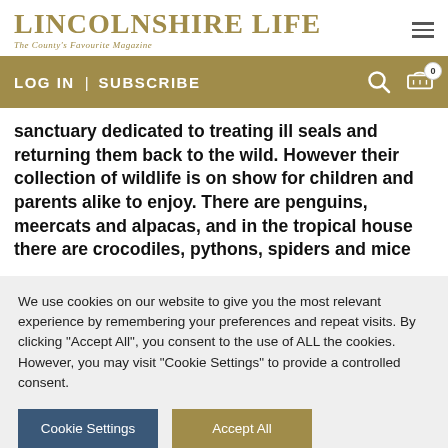LINCOLNSHIRE LIFE | The County's Favourite Magazine
LOG IN | SUBSCRIBE
sanctuary dedicated to treating ill seals and returning them back to the wild. However their collection of wildlife is on show for children and parents alike to enjoy. There are penguins, meercats and alpacas, and in the tropical house there are crocodiles, pythons, spiders and mice
We use cookies on our website to give you the most relevant experience by remembering your preferences and repeat visits. By clicking "Accept All", you consent to the use of ALL the cookies. However, you may visit "Cookie Settings" to provide a controlled consent.